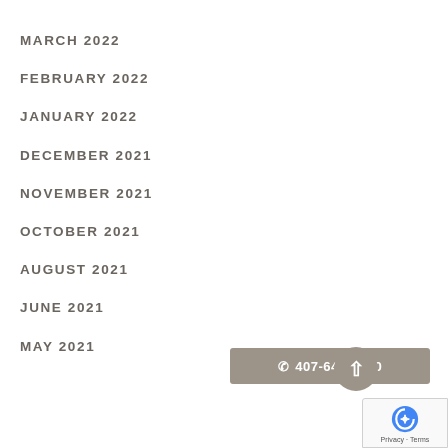MARCH 2022
FEBRUARY 2022
JANUARY 2022
DECEMBER 2021
NOVEMBER 2021
OCTOBER 2021
AUGUST 2021
JUNE 2021
MAY 2021